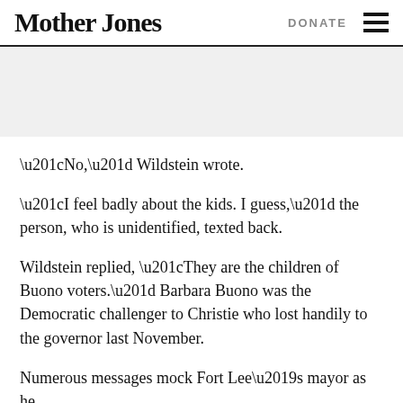Mother Jones   DONATE
[Figure (other): Gray banner/image placeholder area]
“No,” Wildstein wrote.
“I feel badly about the kids. I guess,” the person, who is unidentified, texted back.
Wildstein replied, “They are the children of Buono voters.” Barbara Buono was the Democratic challenger to Christie who lost handily to the governor last November.
Numerous messages mock Fort Lee’s mayor as he